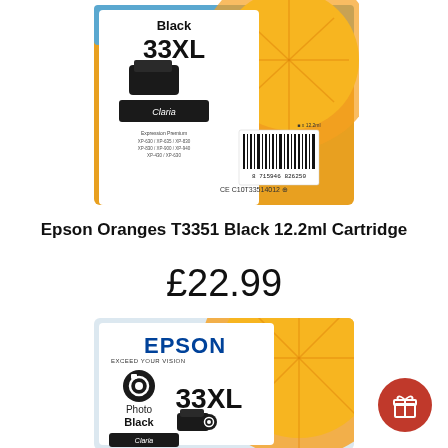[Figure (photo): Epson Oranges 33XL Black ink cartridge product packaging, showing orange fruit, Claria Premium label, barcode, and compatibility info.]
Epson Oranges T3351 Black 12.2ml Cartridge
£22.99
[Figure (photo): Epson Oranges 33XL Photo Black ink cartridge product packaging showing EPSON EXCEED YOUR VISION branding, photo black icon, 33XL label, and Claria label.]